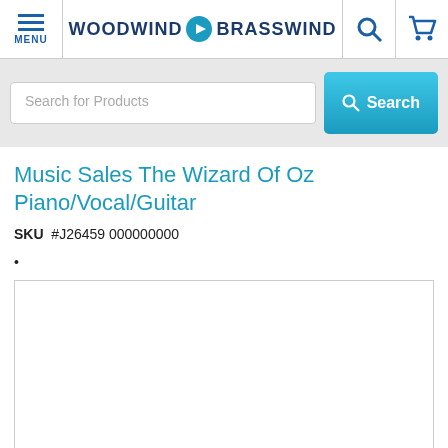WOODWIND BRASSWIND
Music Sales The Wizard Of Oz Piano/Vocal/Guitar
SKU #J26459 000000000
•
[Figure (photo): Empty white product image placeholder box with light border]